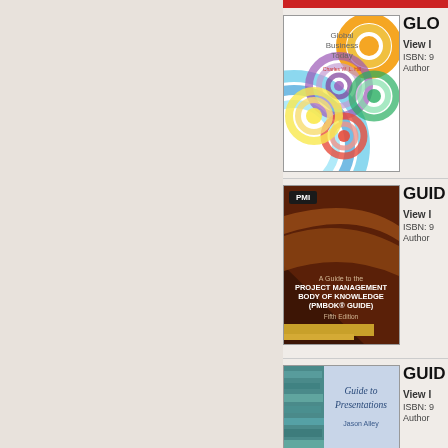[Figure (photo): Book cover: Global Business Today with colorful concentric circle design]
GLO
View I
ISBN: 9
Author
[Figure (photo): Book cover: A Guide to the Project Management Body of Knowledge (PMBOK Guide) Fifth Edition, PMI, dark brown with abstract geometric design]
GUID
View I
ISBN: 9
Author
[Figure (photo): Book cover: Guide to Presentations, light blue/teal with wave design]
GUID
View I
ISBN: 9
Author